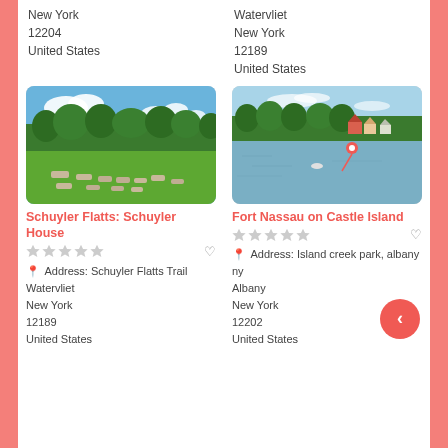New York
12204
United States
Watervliet
New York
12189
United States
[Figure (photo): Outdoor park scene with green grass lawn, stone elements arranged in patterns, and trees under a blue sky with clouds.]
Schuyler Flatts: Schuyler House
Address: Schuyler Flatts Trail
Watervliet
New York
12189
United States
[Figure (photo): Waterfront scene with a calm lake, trees and houses on the far shore, and a red marker pin icon indicating Fort Nassau on Castle Island.]
Fort Nassau on Castle Island
Address: Island creek park, albany ny
Albany
New York
12202
United States